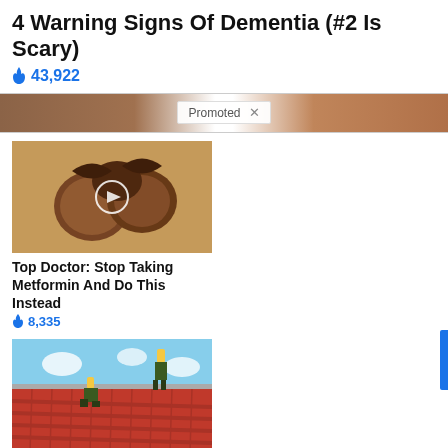4 Warning Signs Of Dementia (#2 Is Scary)
🔥 43,922
[Figure (screenshot): Banner strip with Promoted label and X close button on brownish background]
[Figure (photo): Close-up photo of chestnuts/nuts with a video play button overlay]
Top Doctor: Stop Taking Metformin And Do This Instead
🔥 8,335
[Figure (photo): Photo of workers installing red roof tiles on a rooftop against blue sky]
Forget Expensive Roofing (Do This Instead) - See Options
🔥 782